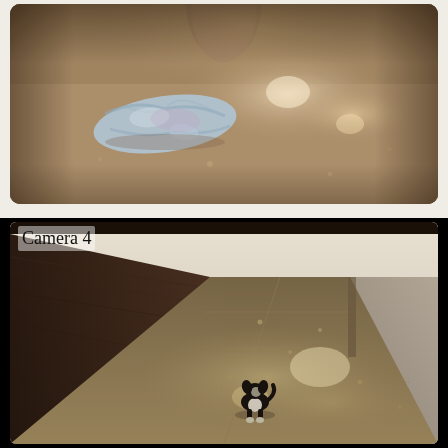[Figure (photo): Top-down view of a shiny concrete/tile floor with a crumpled light blue cloth or garment lying on it. A large column or pillar is visible at the top center. The photo has rounded corners and a warm, slightly vintage-filtered tone.]
[Figure (photo): Security camera footage labeled 'Camera 4' showing a long corridor with dark wooden walls/paneling, a shiny concrete tile floor, and a small black-and-white puppy or small dog standing alone in the middle of the hallway. The camera is angled downward providing an overhead perspective.]